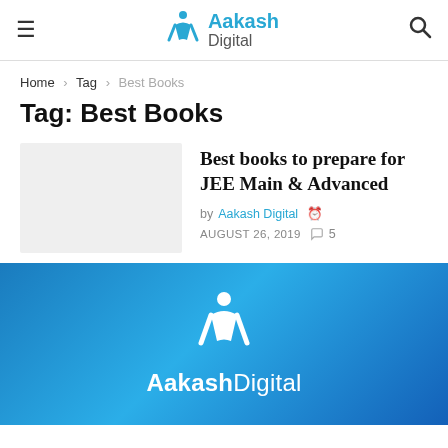Aakash Digital — navigation header with hamburger menu, logo, and search icon
Home > Tag > Best Books
Tag: Best Books
[Figure (other): Thumbnail placeholder (light gray rectangle) for the article about Best books to prepare for JEE Main & Advanced]
Best books to prepare for JEE Main & Advanced
by Aakash Digital  AUGUST 26, 2019  5
[Figure (logo): Aakash Digital banner with blue gradient background showing the Aakash logo (stylized person icon) and text 'Aakash Digital' in white]